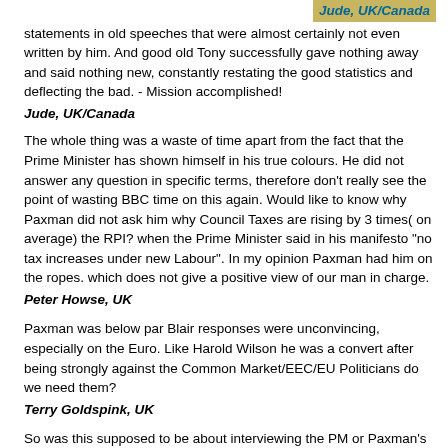statements in old speeches that were almost certainly not even written by him. And good old Tony successfully gave nothing away and said nothing new, constantly restating the good statistics and deflecting the bad. - Mission accomplished!
Jude, UK/Canada
The whole thing was a waste of time apart from the fact that the Prime Minister has shown himself in his true colours. He did not answer any question in specific terms, therefore don't really see the point of wasting BBC time on this again. Would like to know why Paxman did not ask him why Council Taxes are rising by 3 times( on average) the RPI? when the Prime Minister said in his manifesto "no tax increases under new Labour". In my opinion Paxman had him on the ropes. which does not give a positive view of our man in charge.
Peter Howse, UK
Paxman was below par Blair responses were unconvincing, especially on the Euro. Like Harold Wilson he was a convert after being strongly against the Common Market/EEC/EU Politicians do we need them?
Terry Goldspink, UK
So was this supposed to be about interviewing the PM or Paxman's ego? Given the trailers you'd have thought it was "rumble in the jungle", more like "damp squib in the studio".